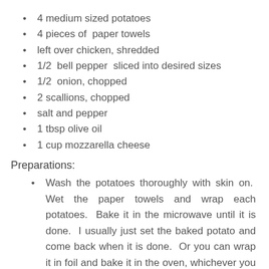4 medium sized potatoes
4 pieces of  paper towels
left over chicken, shredded
1/2  bell pepper  sliced into desired sizes
1/2  onion, chopped
2 scallions, chopped
salt and pepper
1 tbsp olive oil
1 cup mozzarella cheese
Preparations:
Wash the potatoes thoroughly with skin on.  Wet the paper towels and wrap each potatoes.  Bake it in the microwave until it is done.  I usually just set the baked potato and come back when it is done.  Or you can wrap it in foil and bake it in the oven, whichever you prefer.
Put the olive oil in a pan and saute the onion, chicken, peppers, scallions for about 5 minutes